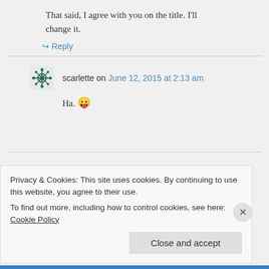That said, I agree with you on the title. I'll change it.
↳ Reply
scarlette on June 12, 2015 at 2:13 am
Ha. 😛
Privacy & Cookies: This site uses cookies. By continuing to use this website, you agree to their use.
To find out more, including how to control cookies, see here: Cookie Policy
Close and accept